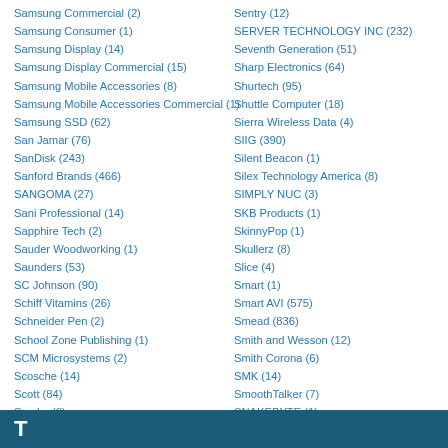Samsung Commercial (2)
Samsung Consumer (1)
Samsung Display (14)
Samsung Display Commercial (15)
Samsung Mobile Accessories (8)
Samsung Mobile Accessories Commercial (1)
Samsung SSD (62)
San Jamar (76)
SanDisk (243)
Sanford Brands (466)
SANGOMA (27)
Sani Professional (14)
Sapphire Tech (2)
Sauder Woodworking (1)
Saunders (53)
SC Johnson (90)
Schiff Vitamins (26)
Schneider Pen (2)
School Zone Publishing (1)
SCM Microsystems (2)
Scosche (14)
Scott (84)
Scrubs (8)
SDI TECHNOLOGIES (1)
Sentry (12)
SERVER TECHNOLOGY INC (232)
Seventh Generation (51)
Sharp Electronics (64)
Shurtech (95)
Shuttle Computer (18)
Sierra Wireless Data (4)
SIIG (390)
Silent Beacon (1)
Silex Technology America (8)
SIMPLY NUC (3)
SKB Products (1)
SkinnyPop (1)
Skullerz (8)
Slice (4)
Smart (1)
Smart AVI (575)
Smead (836)
Smith and Wesson (12)
Smith Corona (6)
SMK (14)
SmoothTalker (7)
SNAKEBYTE (1)
Snuggle (2)
T